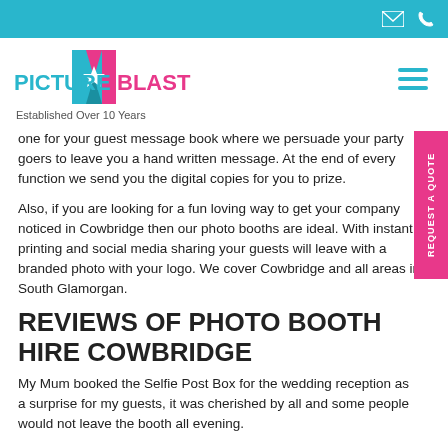[Figure (logo): Picture Blast logo with blue and pink diamond/door shape, text 'PICTURE BLAST' in blue and pink, tagline 'Established Over 10 Years']
one for your guest message book where we persuade your party goers to leave you a hand written message. At the end of every function we send you the digital copies for you to prize.
Also, if you are looking for a fun loving way to get your company noticed in Cowbridge then our photo booths are ideal. With instant printing and social media sharing your guests will leave with a branded photo with your logo. We cover Cowbridge and all areas in South Glamorgan.
REVIEWS OF PHOTO BOOTH HIRE COWBRIDGE
My Mum booked the Selfie Post Box for the wedding reception as a surprise for my guests, it was cherished by all and some people would not leave the booth all evening.